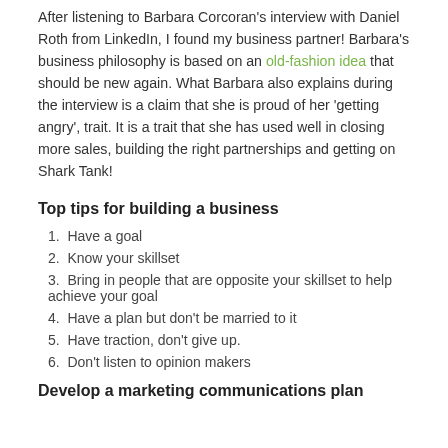After listening to Barbara Corcoran's interview with Daniel Roth from LinkedIn, I found my business partner! Barbara's business philosophy is based on an old-fashion idea that should be new again. What Barbara also explains during the interview is a claim that she is proud of her 'getting angry', trait. It is a trait that she has used well in closing more sales, building the right partnerships and getting on Shark Tank!
Top tips for building a business
1. Have a goal
2. Know your skillset
3. Bring in people that are opposite your skillset to help achieve your goal
4. Have a plan but don't be married to it
5. Have traction, don't give up.
6. Don't listen to opinion makers
Develop a marketing communications plan